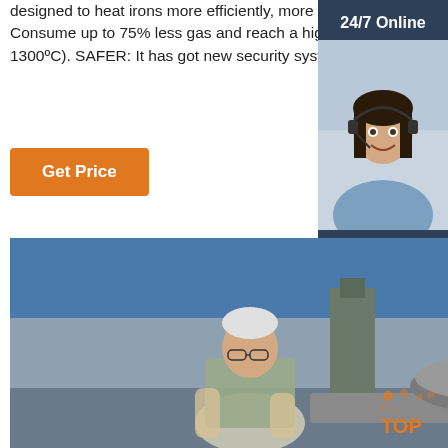designed to heat irons more efficiently, more safely and respecting the environment.MORE EFFICIENT: Consume up to 75% less gas and reach a higher temperature than any furnace in its category.(over than 1300ºC). SAFER: It has got new security systems for the operator.Fulfilling the regulation RD919/2006.
Get Price
24/7 Online
[Figure (photo): Customer service representative wearing headset, smiling]
Click here for free chat !
QUOTATION
[Figure (photo): Factory worker in industrial setting working with large metal casting equipment]